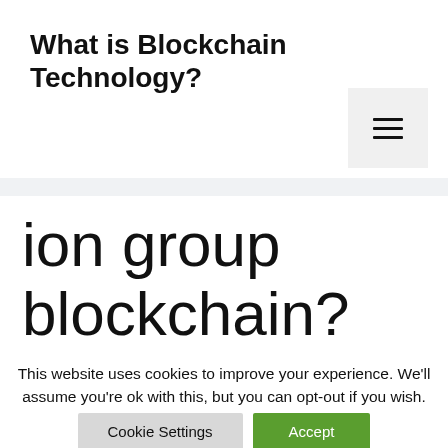What is Blockchain Technology?
ion group blockchain?
This website uses cookies to improve your experience. We'll assume you're ok with this, but you can opt-out if you wish.